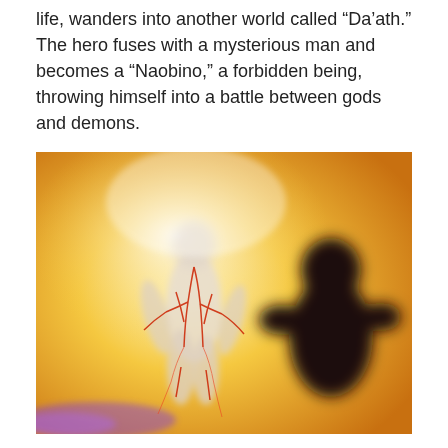life, wanders into another world called “Da’ath.” The hero fuses with a mysterious man and becomes a “Naobino,” a forbidden being, throwing himself into a battle between gods and demons.
[Figure (illustration): Anime-style illustration showing a glowing humanoid figure with red circuit-like lines across its body standing in a bright golden environment, viewed from behind by a dark-silhouetted figure.]
Da’ath
In the mysterious world “Da’ath,” the hero becomes a forbidden all...